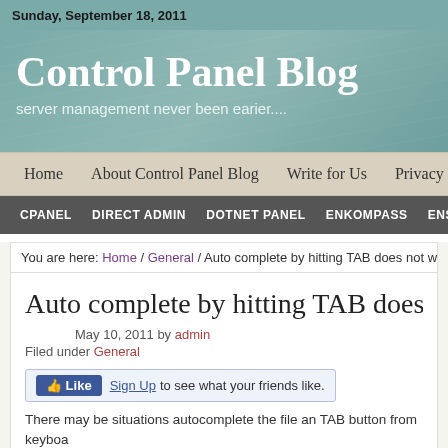Sunday, September 18, 2011
Control Panel Blog
server management never been earier....
Home | About Control Panel Blog | Write for Us | Privacy
CPANEL | DIRECT ADMIN | DOTNET PANEL | ENKOMPASS | ENSIM
You are here: Home / General / Auto complete by hitting TAB does not work in Termina
Auto complete by hitting TAB does not work in
May 10, 2011 by admin
Filed under General
[Figure (screenshot): Facebook Like button with Sign Up link]
There may be situations autocomplete the file an TAB button from keyboa